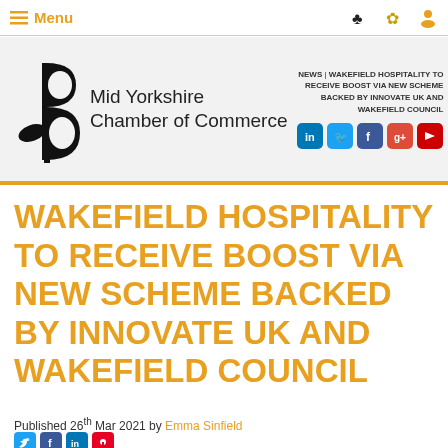Menu
[Figure (logo): Mid Yorkshire Chamber of Commerce logo — black stylized B/flower plant shape with stem]
Mid Yorkshire Chamber of Commerce
News | WAKEFIELD HOSPITALITY TO RECEIVE BOOST VIA NEW SCHEME BACKED BY INNOVATE UK AND WAKEFIELD COUNCIL
WAKEFIELD HOSPITALITY TO RECEIVE BOOST VIA NEW SCHEME BACKED BY INNOVATE UK AND WAKEFIELD COUNCIL
Published 26th Mar 2021 by Emma Sinfield